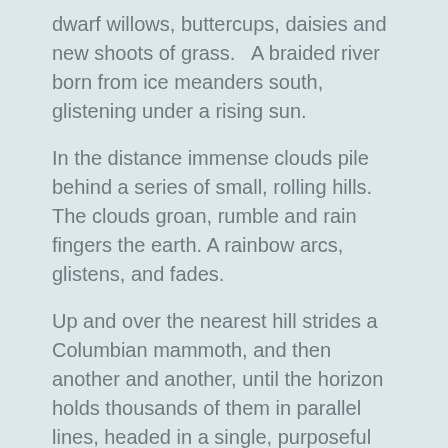dwarf willows, buttercups, daisies and new shoots of grass.   A braided river born from ice meanders south, glistening under a rising sun.
In the distance immense clouds pile behind a series of small, rolling hills. The clouds groan, rumble and rain fingers the earth. A rainbow arcs, glistens, and fades.
Up and over the nearest hill strides a Columbian mammoth, and then another and another, until the horizon holds thousands of them in parallel lines, headed in a single, purposeful direction. It's the spring migration, following a route used for generations.
The humans squat, clothed in the skins of llama and deer, rabbit and fox. They watch as the mammoths fill the basin below them. They watch interrelated family units